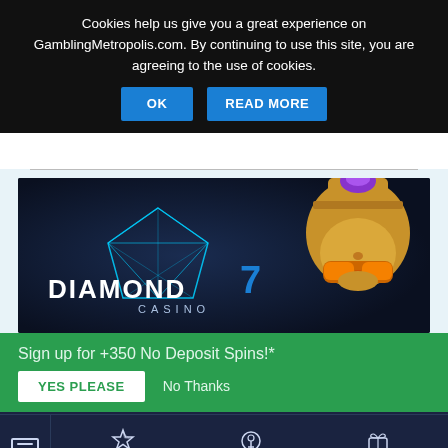Cookies help us give you a great experience on GamblingMetropolis.com. By continuing to use this site, you are agreeing to the use of cookies.
[Figure (screenshot): Diamond 7 Casino banner image with blue wireframe diamond logo and golden idol character on dark navy background]
Sign up for +350 No Deposit Spins!*
YES PLEASE   No Thanks
[Figure (infographic): Bottom navigation bar with hamburger menu, Best UK Casinos, Free Spins, and Casino Bonuses icons]